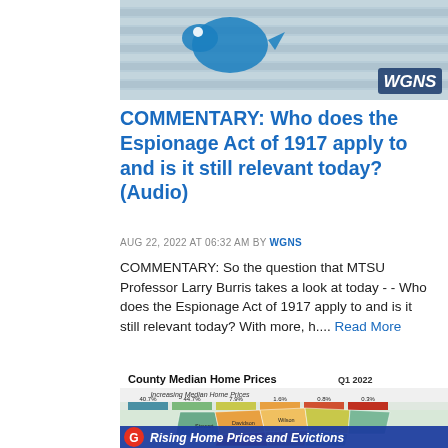[Figure (photo): WGNS radio station header image with blue bird/logo graphic and horizontal blinds background, WGNS logo in bottom right]
COMMENTARY: Who does the Espionage Act of 1917 apply to and is it still relevant today? (Audio)
AUG 22, 2022 AT 06:32 AM BY WGNS
COMMENTARY: So the question that MTSU Professor Larry Burris takes a look at today - - Who does the Espionage Act of 1917 apply to and is it still relevant today? With more, h.... Read More
[Figure (map): County Median Home Prices Q1 2022 - Tennessee county map showing increasing median home prices with color gradient legend. Counties shown include Williamson, Davidson, Wilson, Rutherford, Sumner, and others. Bottom banner reads 'Rising Home Prices and Evictions' with channel G logo.]